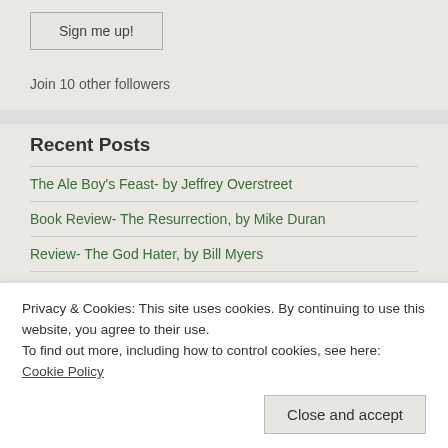Sign me up!
Join 10 other followers
Recent Posts
The Ale Boy's Feast- by Jeffrey Overstreet
Book Review- The Resurrection, by Mike Duran
Review- The God Hater, by Bill Myers
Review- Dragons of the Valley, by Donita K Paul
Privacy & Cookies: This site uses cookies. By continuing to use this website, you agree to their use. To find out more, including how to control cookies, see here: Cookie Policy
Close and accept